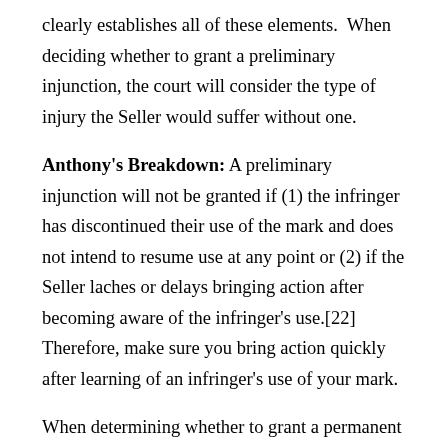clearly establishes all of these elements.  When deciding whether to grant a preliminary injunction, the court will consider the type of injury the Seller would suffer without one.
Anthony's Breakdown: A preliminary injunction will not be granted if (1) the infringer has discontinued their use of the mark and does not intend to resume use at any point or (2) if the Seller laches or delays bringing action after becoming aware of the infringer's use.[22] Therefore, make sure you bring action quickly after learning of an infringer's use of your mark.
When determining whether to grant a permanent injunction, the Court must determine whether equitable relief is appropriate.[23]  The Lanham Act allows for a permanent injunction where: (1) the seller has or will suffer an irreparable injury...